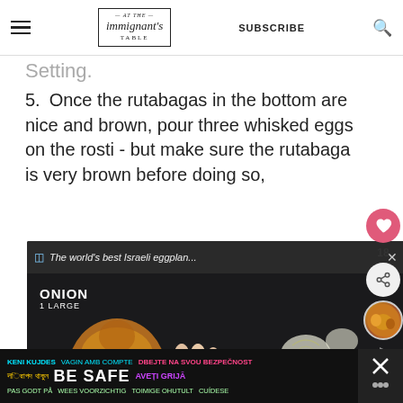At the Immigrant's Table — SUBSCRIBE
Setting.
5. Once the rutabagas in the bottom are nice and brown, pour three whisked eggs on the rosti - but make sure the rutabaga is very brown before doing so, ...ation is the best ...e oven and ...s, checking ...ve set and ...
[Figure (screenshot): Video popup overlay showing 'The world's best Israeli eggplan...' with a close button, overlaid on an instructional cooking video showing hands slicing an onion on a dark background. Label reads 'ONION 1 LARGE'.]
...pepper and serve with a side salad
[Figure (infographic): Public safety advertisement banner at the bottom in multiple languages: 'KENI KUJDES VAGIN AMB COMPTE DBEJTE NA SVOU BEZPECNOST / नিরাপদ থাকুন BE SAFE AVETI GRIJA / PAS GODT PA WEES VOORZICHTIG TOIMIGE OHUTULT CUIDESE'. With an X close button and a circular logo on the right.]